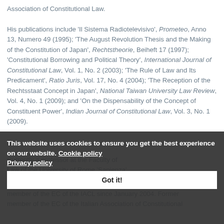Association of Constitutional Law. His publications include 'Il Sistema Radiotelevisivo', Prometeo, Anno 13, Numero 49 (1995); 'The August Revolution Thesis and the Making of the Constitution of Japan', Rechtstheorie, Beiheft 17 (1997); 'Constitutional Borrowing and Political Theory', International Journal of Constitutional Law, Vol. 1, No. 2 (2003); 'The Rule of Law and Its Predicament', Ratio Juris, Vol. 17, No. 4 (2004); 'The Reception of the Rechtsstaat Concept in Japan', National Taiwan University Law Review, Vol. 4, No. 1 (2009); and 'On the Dispensability of the Concept of Constituent Power', Indian Journal of Constitutional Law, Vol. 3, No. 1 (2009).
Currently Professor at the Faculty of Law of the University of Rome 'Sapienza'.
Member of the EC of the IACL since January 2004. Former member of the EC of the Italian Association of Constitutional Law.
This website uses cookies to ensure you get the best experience on our website. Cookie policy Privacy policy
Got it!